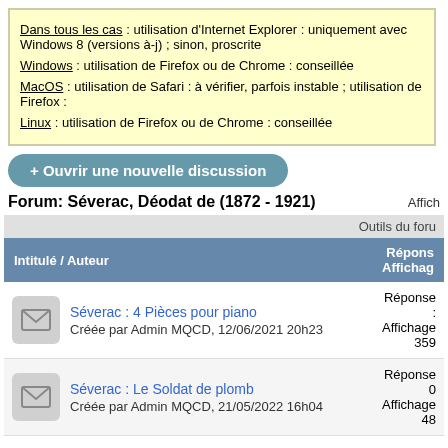Dans tous les cas : utilisation d'Internet Explorer : uniquement avec Windows 8 (versions à-j) ; sinon, proscrite
Windows : utilisation de Firefox ou de Chrome : conseillée
MacOS : utilisation de Safari : à vérifier, parfois instable ; utilisation de Firefox :
Linux : utilisation de Firefox ou de Chrome : conseillée
+ Ouvrir une nouvelle discussion
Forum: Séverac, Déodat de (1872 - 1921)
Affich
| Intitulé / Auteur | Réponse / Affichage |
| --- | --- |
| Séverac : 4 Pièces pour piano
Créée par Admin MQCD, 12/06/2021 20h23 | Réponse :
Affichage : 359 |
| Séverac : Le Soldat de plomb
Créée par Admin MQCD, 21/05/2022 16h04 | Réponse : 0
Affichage : 48 |